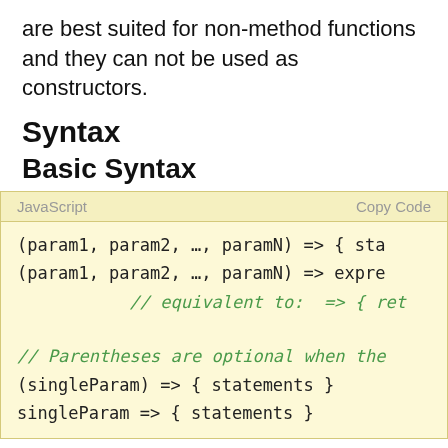are best suited for non-method functions and they can not be used as constructors.
Syntax
Basic Syntax
[Figure (screenshot): Code block with yellow background showing JavaScript arrow function syntax. Header row shows 'JavaScript' and 'Copy Code'. Code lines: (param1, param2, …, paramN) => { sta, (param1, param2, …, paramN) => expre, // equivalent to: => { ret, // Parentheses are optional when the, (singleParam) => { statements }, singleParam => { statements }]